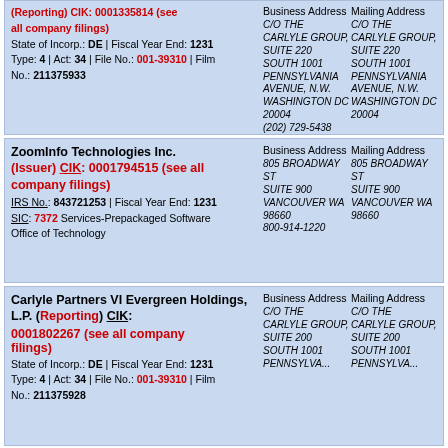| Company Info | Business Address | Mailing Address |
| --- | --- | --- |
| (Reporting) CIK: 0001335814 (see all company filings)
State of Incorp.: DE | Fiscal Year End: 1231
Type: 4 | Act: 34 | File No.: 001-39310 | Film No.: 211375933 | C/O THE CARLYLE GROUP, SUITE 220 SOUTH 1001 PENNSYLVANIA AVENUE, N.W. WASHINGTON DC 20004 (202) 729-5438 | C/O THE CARLYLE GROUP, SUITE 220 SOUTH 1001 PENNSYLVANIA AVENUE, N.W. WASHINGTON DC 20004 |
| ZoomInfo Technologies Inc. (Issuer) CIK: 0001794515 (see all company filings)
IRS No.: 843721253 | Fiscal Year End: 1231
SIC: 7372 Services-Prepackaged Software Office of Technology | 805 BROADWAY ST SUITE 900 VANCOUVER WA 98660 800-914-1220 | 805 BROADWAY ST SUITE 900 VANCOUVER WA 98660 |
| Carlyle Partners VI Evergreen Holdings, L.P. (Reporting) CIK: 0001802267 (see all company filings)
State of Incorp.: DE | Fiscal Year End: 1231
Type: 4 | Act: 34 | File No.: 001-39310 | Film No.: 211375928 | C/O THE CARLYLE GROUP, SUITE 200 SOUTH 1001 PENNSYLVANIA | C/O THE CARLYLE GROUP, SUITE 200 SOUTH 1001 PENNSYLVANIA |